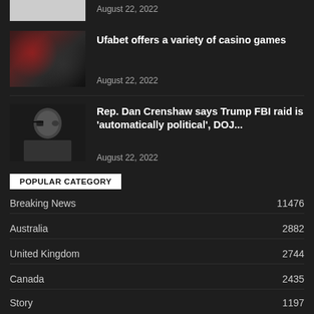[Figure (photo): Partial view of a white/grey box thumbnail at the top]
August 22, 2022
[Figure (photo): Casino-themed photo with red dice, poker chips and playing cards]
Ufabet offers a variety of casino games
August 22, 2022
[Figure (photo): Portrait photo of a man with an eye patch in a dark suit]
Rep. Dan Crenshaw says Trump FBI raid is ‘automatically political’, DOJ...
August 22, 2022
POPULAR CATEGORY
Breaking News 11476
Australia 2882
United Kingdom 2744
Canada 2435
Story 1197